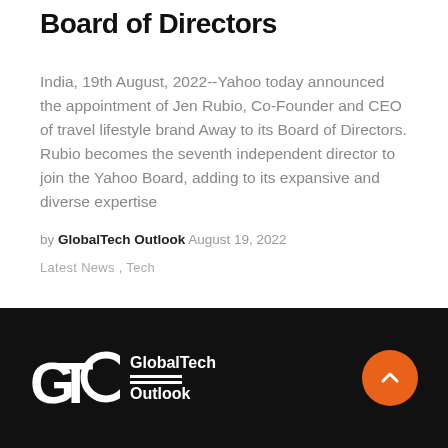Board of Directors
India, 19th August, 2022--Yahoo today announced the appointment of Jen Rubio, Co-Founder and CEO of travel lifestyle brand Away to its Board of Directors. Rubio becomes the seventh independent director to join the Yahoo Board, adding to its expansive and diverse expertise
by GlobalTech Outlook August 19, 2022
Latest News, Tech
[Figure (logo): GlobalTech Outlook logo — GTO letters in white with double horizontal rule and GlobalTech Outlook text on black background footer, with orange back-to-top button]